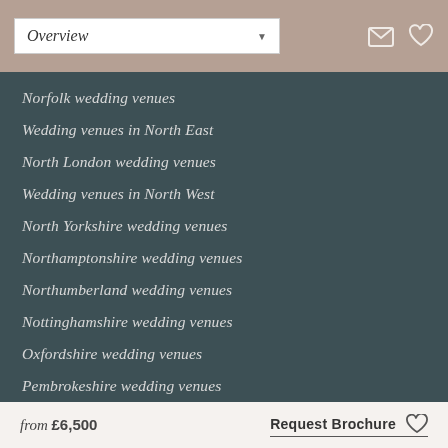Overview
Norfolk wedding venues
Wedding venues in North East
North London wedding venues
Wedding venues in North West
North Yorkshire wedding venues
Northamptonshire wedding venues
Northumberland wedding venues
Nottinghamshire wedding venues
Oxfordshire wedding venues
Pembrokeshire wedding venues
Perth wedding venues
Powys w
Rutland v
from £6,500   Request Brochure